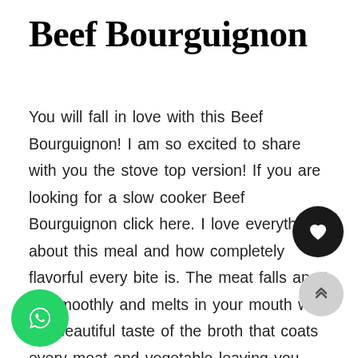Beef Bourguignon
You will fall in love with this Beef Bourguignon! I am so excited to share with you the stove top version! If you are looking for a slow cooker Beef Bourguignon click here. I love everything about this meal and how completely flavorful every bite is. The meat falls apart so smoothly and melts in your mouth with the beautiful taste of the broth that coats every meat and vegetable leaving you wanting more. I have two teenage boys and I was getting worried I wouldn't have any left overs for me to warm up the next day with them continuing to enjoy bowlful after bowlful. My girls were equally loving it and kept saying between each spoonful "this is good, this is really good!"